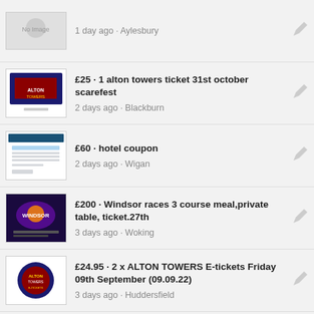1 day ago · Aylesbury
£25 · 1 alton towers ticket 31st october scarefest
2 days ago · Blackburn
£60 · hotel coupon
2 days ago · Wigan
£200 · Windsor races 3 course meal,private table, ticket.27th
3 days ago · Woking
£24.95 · 2 x ALTON TOWERS E-tickets Friday 09th September (09.09.22)
3 days ago · Huddersfield
£49 · 4 VIP Tickets For Funny Girls Blackpool Aug/Sept - Expiry
3 days ago · Chester